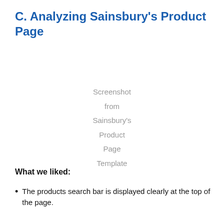C. Analyzing Sainsbury's Product Page
[Figure (screenshot): Screenshot from Sainsbury's Product Page Template]
What we liked:
The products search bar is displayed clearly at the top of the page.